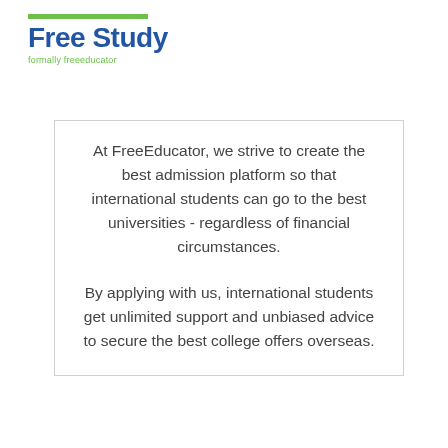Free Study formally freeeducator
At FreeEducator, we strive to create the best admission platform so that international students can go to the best universities - regardless of financial circumstances.
By applying with us, international students get unlimited support and unbiased advice to secure the best college offers overseas.